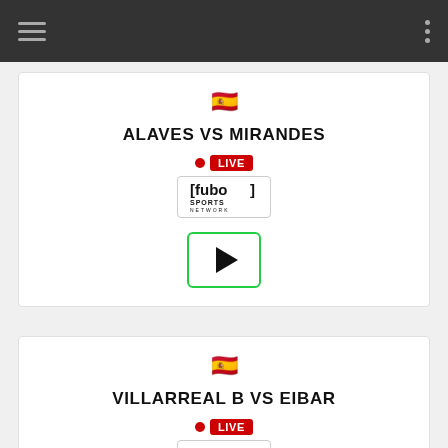Navigation bar with hamburger menu and dots menu
[Figure (screenshot): Spanish flag emoji]
ALAVES VS MIRANDES
[Figure (logo): LIVE badge with red dot and fuboTV Sports Network logo]
[Figure (other): Green-bordered play button]
[Figure (screenshot): Spanish flag emoji]
VILLARREAL B VS EIBAR
[Figure (logo): LIVE badge with red dot and fuboTV Sports Network logo]
[Figure (other): Green-bordered play button (partially visible)]